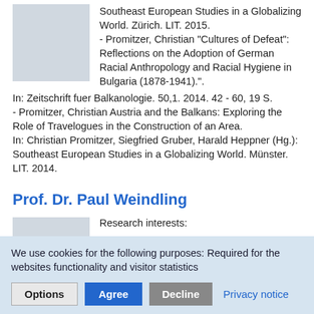Southeast European Studies in a Globalizing World. Zürich. LIT. 2015.
- Promitzer, Christian "Cultures of Defeat": Reflections on the Adoption of German Racial Anthropology and Racial Hygiene in Bulgaria (1878-1941)."
In: Zeitschrift fuer Balkanologie. 50,1. 2014. 42 - 60, 19 S.
- Promitzer, Christian Austria and the Balkans: Exploring the Role of Travelogues in the Construction of an Area.
In: Christian Promitzer, Siegfried Gruber, Harald Heppner (Hg.): Southeast European Studies in a Globalizing World. Münster. LIT. 2014.
Prof. Dr. Paul Weindling
Research interests:
- History of eugenics
- Public health organizations
- Twentieth century disease patterns
- Medical research under National Socialism and its Victims
We use cookies for the following purposes: Required for the websites functionality and visitor statistics
Options  Agree  Decline  Privacy notice